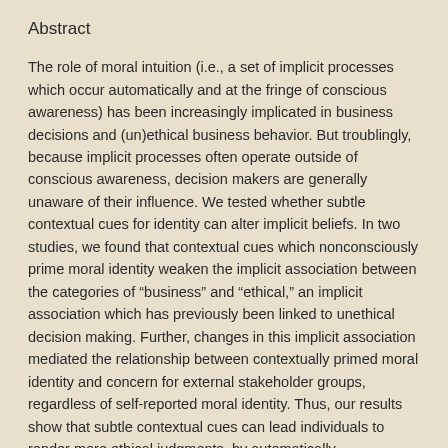Abstract
The role of moral intuition (i.e., a set of implicit processes which occur automatically and at the fringe of conscious awareness) has been increasingly implicated in business decisions and (un)ethical business behavior. But troublingly, because implicit processes often operate outside of conscious awareness, decision makers are generally unaware of their influence. We tested whether subtle contextual cues for identity can alter implicit beliefs. In two studies, we found that contextual cues which nonconsciously prime moral identity weaken the implicit association between the categories of “business” and “ethical,” an implicit association which has previously been linked to unethical decision making. Further, changes in this implicit association mediated the relationship between contextually primed moral identity and concern for external stakeholder groups, regardless of self-reported moral identity. Thus, our results show that subtle contextual cues can lead individuals to render more ethical judgments, by automatically restructuring moral intuition below the level of